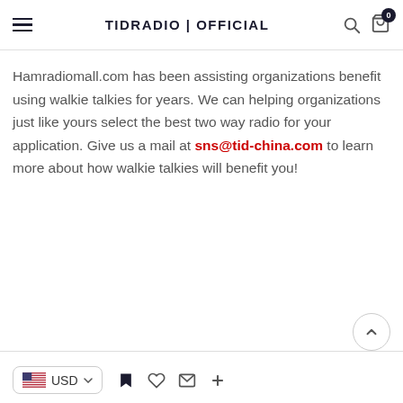TIDRADIO | OFFICIAL
Hamradiomall.com has been assisting organizations benefit using walkie talkies for years. We can helping organizations just like yours select the best two way radio for your application. Give us a mail at sns@tid-china.com to learn more about how walkie talkies will benefit you!
USD